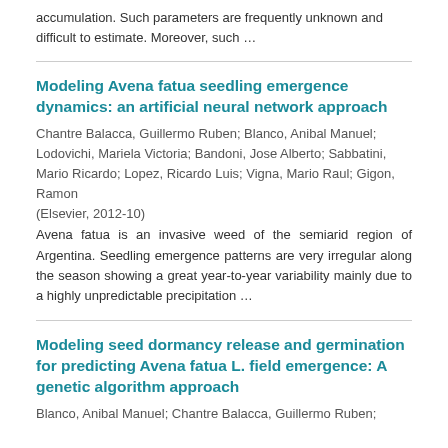accumulation. Such parameters are frequently unknown and difficult to estimate. Moreover, such …
Modeling Avena fatua seedling emergence dynamics: an artificial neural network approach
Chantre Balacca, Guillermo Ruben; Blanco, Anibal Manuel; Lodovichi, Mariela Victoria; Bandoni, Jose Alberto; Sabbatini, Mario Ricardo; Lopez, Ricardo Luis; Vigna, Mario Raul; Gigon, Ramon
(Elsevier, 2012-10)
Avena fatua is an invasive weed of the semiarid region of Argentina. Seedling emergence patterns are very irregular along the season showing a great year-to-year variability mainly due to a highly unpredictable precipitation …
Modeling seed dormancy release and germination for predicting Avena fatua L. field emergence: A genetic algorithm approach
Blanco, Anibal Manuel; Chantre Balacca, Guillermo Ruben;